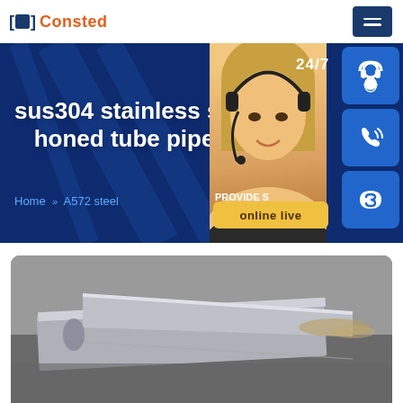Consted
sus304 stainless seam honed tube pipe
Home » A572 steel
[Figure (screenshot): Customer service representative with headset, 24/7 support badges with headset, phone, and Skype icons, and online live chat button]
[Figure (photo): Product photo showing metal plates/pipes in an industrial setting]